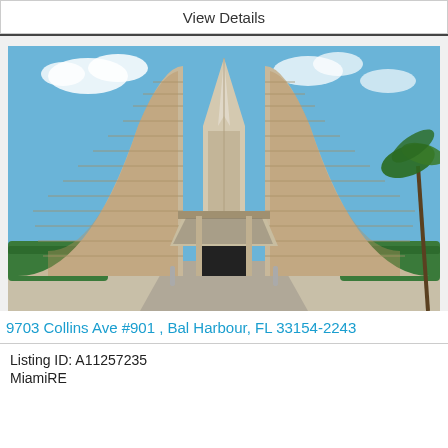View Details
[Figure (photo): Exterior photo of a large luxury condominium building at 9703 Collins Ave, Bal Harbour FL. Two curved high-rise towers flank a central triangular spire element, with a covered entrance/porte-cochere. Manicured hedges in foreground, blue sky backdrop.]
9703 Collins Ave #901 , Bal Harbour, FL 33154-2243
Listing ID: A11257235
MiamiRE